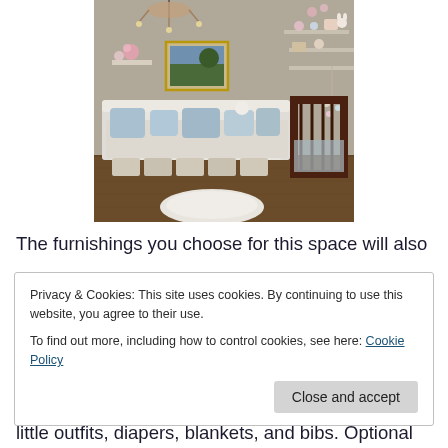[Figure (photo): A nursery room with a white daybed covered in light blue pillows and white bedding, baskets underneath, a dark wood crib on the right, wall shelves with decorative items, a framed landscape painting, a chandelier, and a round white fluffy rug on a dark wood floor.]
The furnishings you choose for this space will also
Privacy & Cookies: This site uses cookies. By continuing to use this website, you agree to their use.
To find out more, including how to control cookies, see here: Cookie Policy
[Close and accept button]
little outfits, diapers, blankets, and bibs. Optional